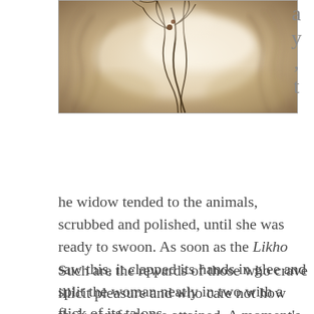[Figure (illustration): A sepia-toned artistic illustration showing swirling, ethereal forms with organic branch-like shapes and soft blurred textures suggesting a supernatural or mythological scene.]
a y , t
he widow tended to the animals, scrubbed and polished, until she was ready to swoon. As soon as the Likho saw this, it clapped its hands in glee and split the woman neatly in two with a flick of its talons.
Such are the rewards of those who crave illicit pleasure and who care not how their comforts are attained. A moment’s temptation takes us on a wrong path, on